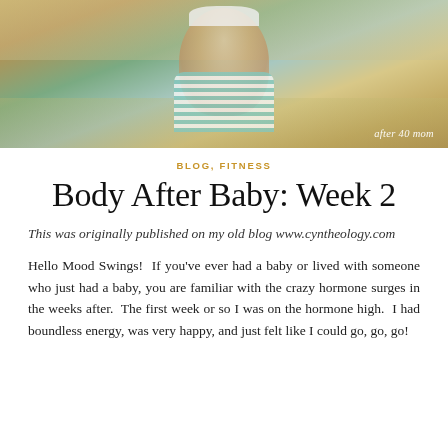[Figure (photo): Selfie photo of a woman wearing a white cap and teal/white striped top, outdoors with trees in background. Watermark text 'after 40 mom' in bottom right corner.]
BLOG, FITNESS
Body After Baby: Week 2
This was originally published on my old blog www.cyntheology.com
Hello Mood Swings!  If you've ever had a baby or lived with someone who just had a baby, you are familiar with the crazy hormone surges in the weeks after.  The first week or so I was on the hormone high.  I had boundless energy, was very happy, and just felt like I could go, go, go!